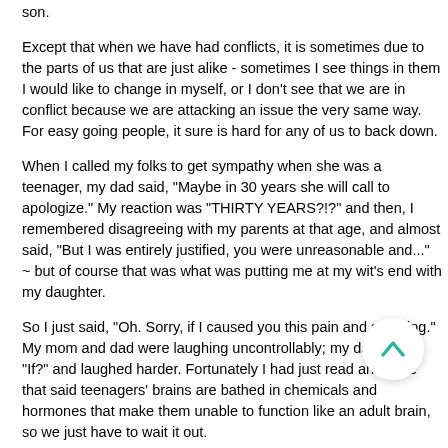son.
Except that when we have had conflicts, it is sometimes due to the parts of us that are just alike - sometimes I see things in them I would like to change in myself, or I don't see that we are in conflict because we are attacking an issue the very same way. For easy going people, it sure is hard for any of us to back down.
When I called my folks to get sympathy when she was a teenager, my dad said, "Maybe in 30 years she will call to apologize." My reaction was "THIRTY YEARS?!?" and then, I remembered disagreeing with my parents at that age, and almost said, "But I was entirely justified, you were unreasonable and..." ~ but of course that was what was putting me at my wit's end with my daughter.
So I just said, "Oh. Sorry, if I caused you this pain and suffering." My mom and dad were laughing uncontrollably; my dad said, "If?" and laughed harder. Fortunately I had just read an article that said teenagers' brains are bathed in chemicals and hormones that make them unable to function like an adult brain, so we just have to wait it out.
And in thirty years, who knows? Maybe she will have a daughter and call me about their conflicts. Although I'm sure her first reaction will be, "But I was entirely justified - you were unreasonable."
When my daughter was about 8 years old, she came home from school and explained that we did not have to argue any more, she had learned the difference between 'fact' and 'opinion' and realized that what I said was